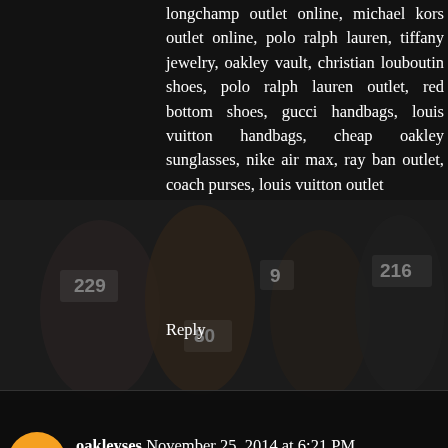[Figure (photo): Dark background photo of athletes running in a race with visible numbers 229, 9, 80, 216 on their bibs]
longchamp outlet online, michael kors outlet online, polo ralph lauren, tiffany jewelry, oakley vault, christian louboutin shoes, polo ralph lauren outlet, red bottom shoes, gucci handbags, louis vuitton handbags, cheap oakley sunglasses, nike air max, ray ban outlet, coach purses, louis vuitton outlet
Reply
oakleyses  November 25, 2014 at 6:21 PM
sac vanessa bruno, hermes pas cher, vans pas cher, air max pas cher, timberland, nike roshe, longchamp pas cher, michael kors canada, barbour, chaussure louboutin, nike blazer pas cher, nike free pas cher, michael kors uk, ray ban pas cher, abercrombie and fitch, air max, air jordan, ralph lauren, nike air max, nike roshe run, oakley pas cher, converse pas cher, lululemon, sac louis vuitton, true religion jeans, nike free, new balance pas cher, tn pas cher, scarpe hogan, ralph lauren pas cher, mulberry, north face, lacoste pas cher, burberry pas cher, louis vuitton uk, longchamp, hollister, nike air force, sac michael kors, north face pas